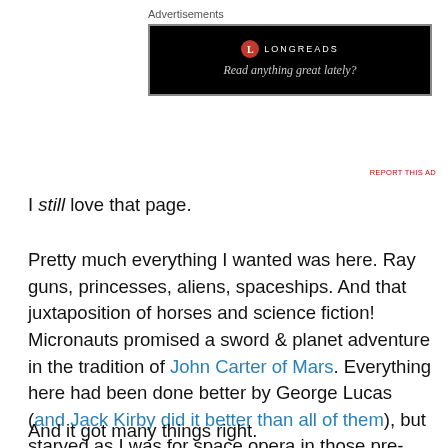[Figure (other): Advertisement banner for Longreads with black background, red circle logo with 'L', brand name 'LONGREADS' and tagline 'Read anything great lately?']
I still love that page.
Pretty much everything I wanted was here. Ray guns, princesses, aliens, spaceships. And that juxtaposition of horses and science fiction! Micronauts promised a sword & planet adventure in the tradition of John Carter of Mars. Everything here had been done better by George Lucas (and Jack Kirby did it better than all of them), but starved as I was for space opera in those pre-home video days, this book didn't have to be Mr. Right. It was enough to be Mr. Right Now.
And it got many things right.